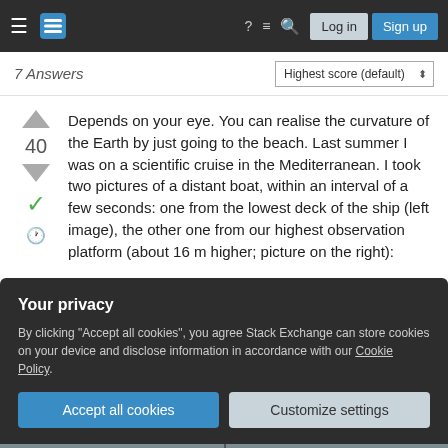Stack Exchange navigation bar with Log in and Sign up buttons
7 Answers
Depends on your eye. You can realise the curvature of the Earth by just going to the beach. Last summer I was on a scientific cruise in the Mediterranean. I took two pictures of a distant boat, within an interval of a few seconds: one from the lowest deck of the ship (left image), the other one from our highest observation platform (about 16 m higher; picture on the right):
Your privacy

By clicking "Accept all cookies", you agree Stack Exchange can store cookies on your device and disclose information in accordance with our Cookie Policy.
[Figure (photo): Bottom strip showing two photographs of a distant boat on the ocean, split into left and right panels]